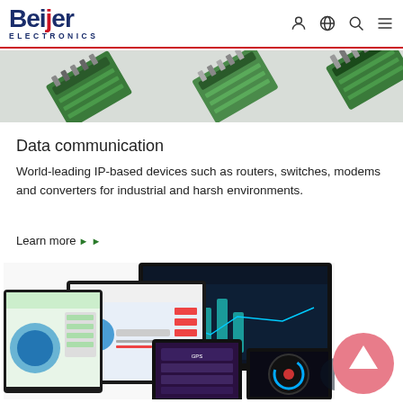Beijer Electronics
[Figure (photo): Green industrial connector modules/terminal blocks arranged diagonally, product image strip]
Data communication
World-leading IP-based devices such as routers, switches, modems and converters for industrial and harsh environments.
Learn more ▶ ▶
[Figure (photo): Multiple industrial HMI touchscreen panels and displays showing various control interfaces]
[Figure (other): Pink/coral circular up-arrow scroll-to-top button]